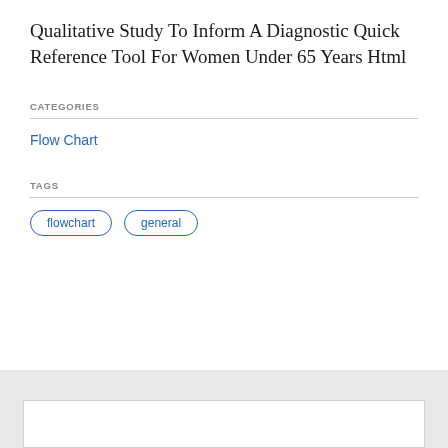Qualitative Study To Inform A Diagnostic Quick Reference Tool For Women Under 65 Years Html
CATEGORIES
Flow Chart
TAGS
flowchart
general